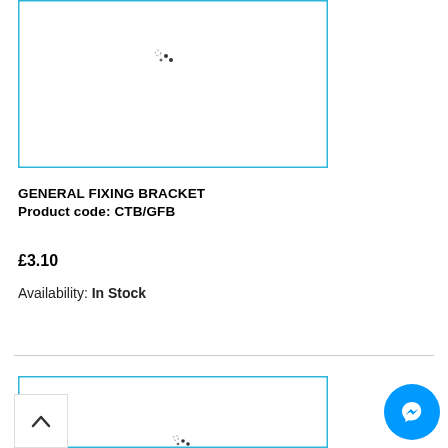[Figure (screenshot): Product image placeholder with cyan border and loading spinner dots for General Fixing Bracket]
GENERAL FIXING BRACKET
Product code: CTB/GFB
£3.10
Availability: In Stock
[Figure (screenshot): Second product image placeholder with cyan border and loading spinner dots, partially visible]
[Figure (other): Facebook Messenger chat button (blue circle with white lightning bolt icon)]